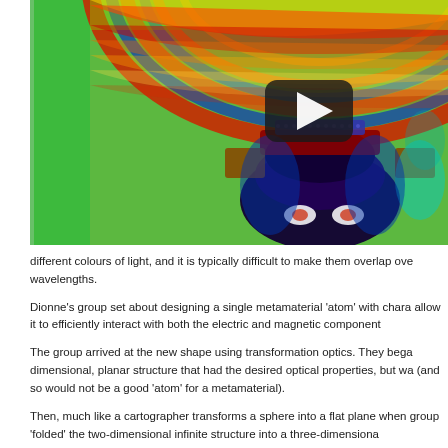[Figure (screenshot): Simulation image showing wave interference patterns in false color (green, red, blue, cyan) around a metamaterial structure shaped like an insect or turtle shell, with a YouTube play button overlay in the center top]
different colours of light, and it is typically difficult to make them overlap ove wavelengths.
Dionne's group set about designing a single metamaterial 'atom' with chara allow it to efficiently interact with both the electric and magnetic component
The group arrived at the new shape using transformation optics. They bega dimensional, planar structure that had the desired optical properties, but wa (and so would not be a good 'atom' for a metamaterial).
Then, much like a cartographer transforms a sphere into a flat plane when group 'folded' the two-dimensional infinite structure into a three-dimensiona